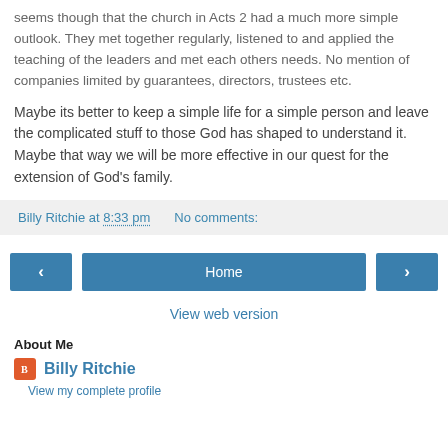seems though that the church in Acts 2 had a much more simple outlook. They met together regularly, listened to and applied the teaching of the leaders and met each others needs. No mention of companies limited by guarantees, directors, trustees etc.
Maybe its better to keep a simple life for a simple person and leave the complicated stuff to those God has shaped to understand it. Maybe that way we will be more effective in our quest for the extension of God's family.
Billy Ritchie at 8:33 pm   No comments:
‹   Home   ›   View web version
About Me
Billy Ritchie
View my complete profile